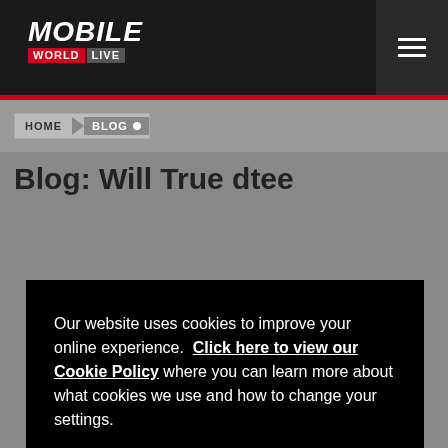[Figure (screenshot): Mobile World Live website header with black navigation bar containing logo and hamburger menu]
HOME > BLOG
Blog: Will True dtee
Our website uses cookies to improve your online experience. Click here to view our Cookie Policy where you can learn more about what cookies we use and how to change your settings.
Yes, I agree to the use of cookies.
Manage Cookies